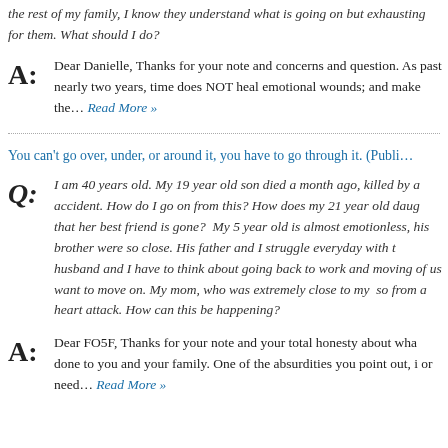the rest of my family, I know they understand what is going on but exhausting for them. What should I do?
A: Dear Danielle, Thanks for your note and concerns and question. As past nearly two years, time does NOT heal emotional wounds; and make the… Read More »
You can't go over, under, or around it, you have to go through it. (Publi…
Q: I am 40 years old. My 19 year old son died a month ago, killed by a accident. How do I go on from this? How does my 21 year old daug that her best friend is gone? My 5 year old is almost emotionless, his brother were so close. His father and I struggle everyday with t husband and I have to think about going back to work and moving of us want to move on. My mom, who was extremely close to my so from a heart attack. How can this be happening?
A: Dear FO5F, Thanks for your note and your total honesty about wha done to you and your family. One of the absurdities you point out, i or need… Read More »